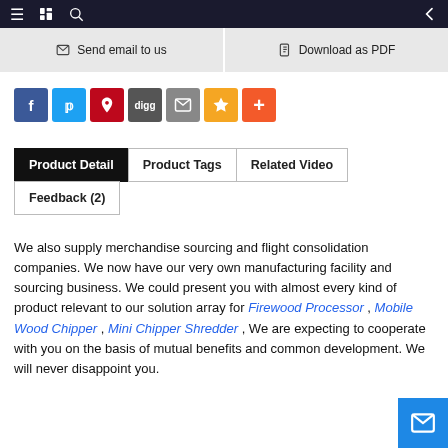Navigation bar with hamburger menu, book icon, search icon, back arrow
Send email to us   Download as PDF
[Figure (other): Social sharing icons: Facebook, Twitter, Pinterest, Digg, Mail, Star/Bookmark, Plus/Share]
Product Detail   Product Tags   Related Video   Feedback (2)
We also supply merchandise sourcing and flight consolidation companies. We now have our very own manufacturing facility and sourcing business. We could present you with almost every kind of product relevant to our solution array for Firewood Processor , Mobile Wood Chipper , Mini Chipper Shredder , We are expecting to cooperate with you on the basis of mutual benefits and common development. We will never disappoint you.